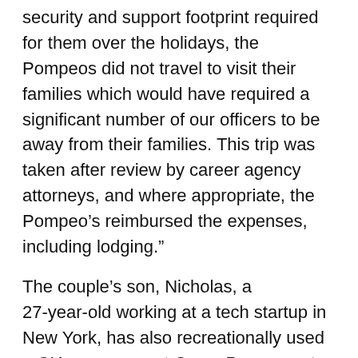security and support footprint required for them over the holidays, the Pompeos did not travel to visit their families which would have required a significant number of our officers to be away from their families. This trip was taken after review by career agency attorneys, and where appropriate, the Pompeo’s reimbursed the expenses, including lodging.”
The couple’s son, Nicholas, a 27-year-old working at a tech startup in New York, has also recreationally used a CIA gun range at Camp Peary on at least one occasion, three sources with knowledge of the matter told CNN.
One former senior CIA official told CNN that “you’re not even supposed to be there without a clearance … it’s absolutely outrageous.”